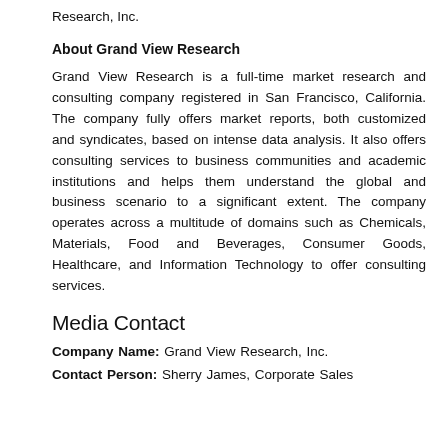Research, Inc.
About Grand View Research
Grand View Research is a full-time market research and consulting company registered in San Francisco, California. The company fully offers market reports, both customized and syndicates, based on intense data analysis. It also offers consulting services to business communities and academic institutions and helps them understand the global and business scenario to a significant extent. The company operates across a multitude of domains such as Chemicals, Materials, Food and Beverages, Consumer Goods, Healthcare, and Information Technology to offer consulting services.
Media Contact
Company Name: Grand View Research, Inc.
Contact Person: Sherry James, Corporate Sales